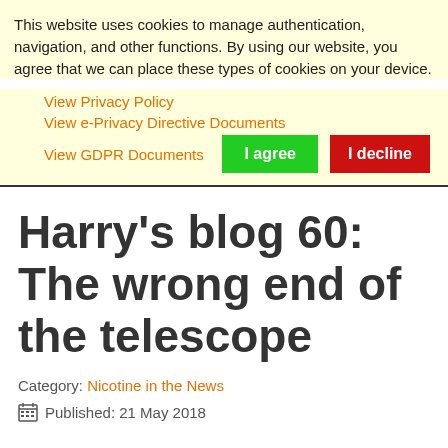This website uses cookies to manage authentication, navigation, and other functions. By using our website, you agree that we can place these types of cookies on your device.
View Privacy Policy
View e-Privacy Directive Documents
View GDPR Documents
Harry’s blog 60:  The wrong end of the telescope
Category: Nicotine in the News
Published: 21 May 2018